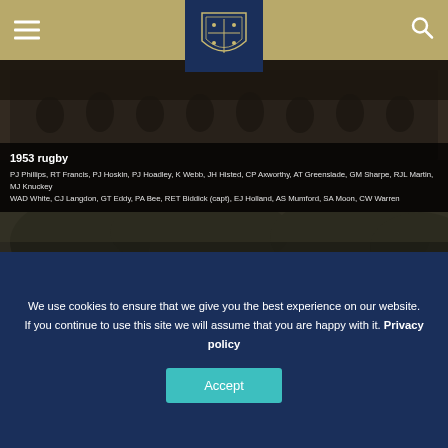Navigation header with hamburger menu, school crest logo, and search icon
[Figure (photo): Black and white group photo of rugby team from 1953 with caption overlay]
1953 rugby
PJ Phillips, RT Francis, PJ Hoskin, PJ Hoadley, K Webb, JH Histed, CP Axworthy, AT Greenslade, GM Sharpe, RJL Martin, MJ Knuckey
WAD White, CJ Langdon, GT Eddy, PA Bee, RET Biddick (capt), EJ Holland, AS Mumford, SA Moon, CW Warren
[Figure (photo): Black and white formal group photograph of young men in suits, one person circled in red in the back row on the left side]
We use cookies to ensure that we give you the best experience on our website. If you continue to use this site we will assume that you are happy with it. Privacy policy
Accept